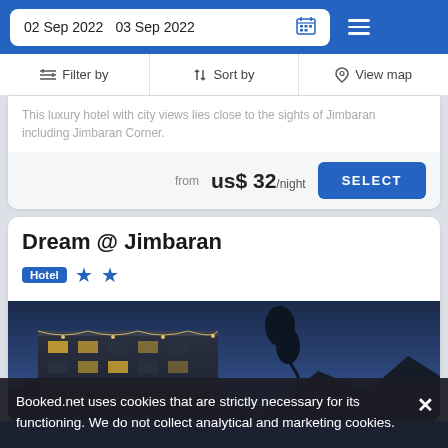02 Sep 2022   03 Sep 2022
Filter by   Sort by   View map
This luxury hotel with city views lies close to the sights of Jimbaran including Jimbaran Corner.
from us$ 32/night   SELECT
Dream @ Jimbaran
Hotel ★★
[Figure (photo): Exterior photo of Dream @ Jimbaran hotel at dusk/evening showing illuminated building facade with string lights, trees silhouetted against a blue twilight sky]
Booked.net uses cookies that are strictly necessary for its functioning. We do not collect analytical and marketing cookies.